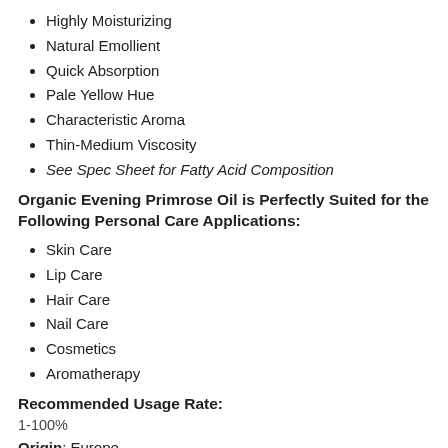Highly Moisturizing
Natural Emollient
Quick Absorption
Pale Yellow Hue
Characteristic Aroma
Thin-Medium Viscosity
See Spec Sheet for Fatty Acid Composition
Organic Evening Primrose Oil is Perfectly Suited for the Following Personal Care Applications:
Skin Care
Lip Care
Hair Care
Nail Care
Cosmetics
Aromatherapy
Recommended Usage Rate:
1-100%
Origin: Europe
INCI: Something Primrose (Evening Primrose) Oil